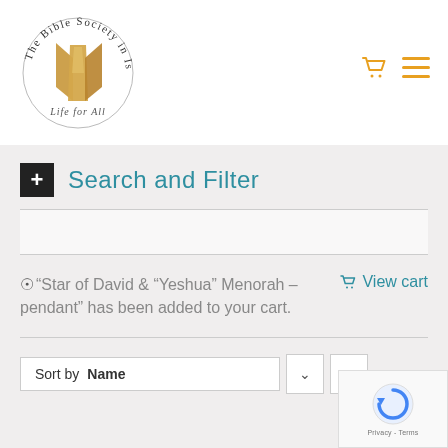[Figure (logo): The Bible Society in Israel circular logo with golden cross/book symbol and cursive text 'Life for All']
Search and Filter
"Star of David & "Yeshua" Menorah – pendant" has been added to your cart.
View cart
Sort by Name
Privacy & Cookies Policy